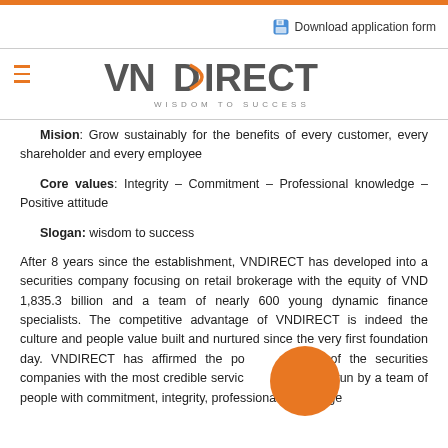Download application form
[Figure (logo): VNDIRECT logo with tagline WISDOM TO SUCCESS]
Mision: Grow sustainably for the benefits of every customer, every shareholder and every employee
Core values: Integrity – Commitment – Professional knowledge – Positive attitude
Slogan: wisdom to success
After 8 years since the establishment, VNDIRECT has developed into a securities company focusing on retail brokerage with the equity of VND 1,835.3 billion and a team of nearly 600 young dynamic finance specialists. The competitive advantage of VNDIRECT is indeed the culture and people value built and nurtured since the very first foundation day. VNDIRECT has affirmed the position of one of the securities companies with the most credible service in the market, run by a team of people with commitment, integrity, professional knowledge